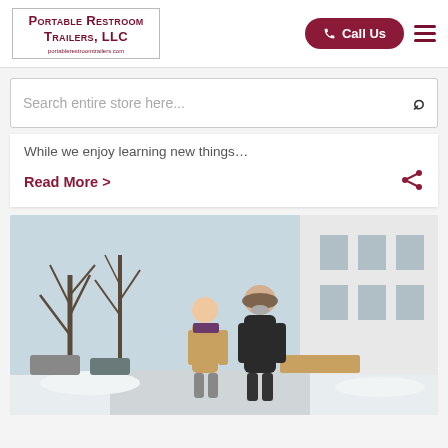[Figure (logo): Portable Restroom Trailers, LLC logo with website URL portablerestroomtrailers.com]
Call Us
Search entire store here...
While we enjoy learning new things…
Read More >
[Figure (photo): Elderly couple walking outdoors in winter, snow on ground, bare trees and building in background]